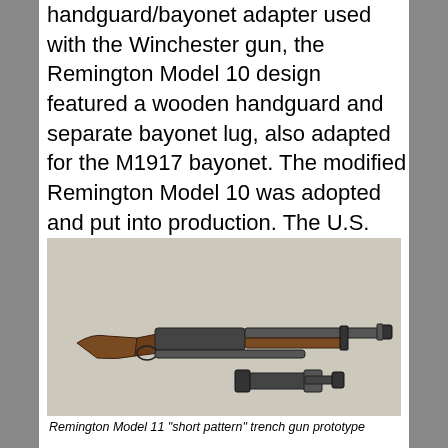handguard/bayonet adapter used with the Winchester gun, the Remington Model 10 design featured a wooden handguard and separate bayonet lug, also adapted for the M1917 bayonet. The modified Remington Model 10 was adopted and put into production. The U.S. Army now had two standardized “trench guns,” but other models continued to be evaluated.
[Figure (photo): Photograph of Remington Model 11 short pattern trench gun prototype, showing the full shotgun with wooden stock and barrel, plus a separate close-up of the bayonet adapter/handguard attachment piece.]
Remington Model 11 “short pattern” trench gun prototype
Although Remington had accepted